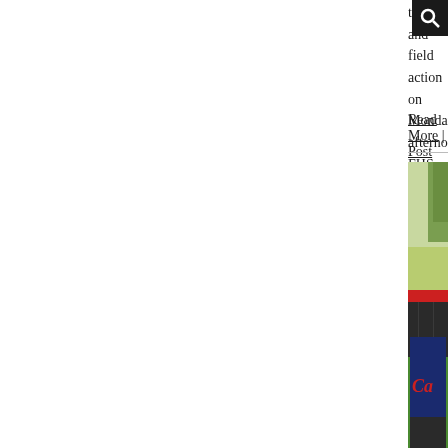track and field action on Monday afternoon. FHS, coached by veteran skipper Trent Sanders, p... County (81-51) and Louisburg (102-32) at the Frankli...
Read More | Post Comment
[Figure (photo): A baseball/softball player in a navy blue 'Ca...' jersey running on a green field, with a red outfield fence and dark tarp wall behind, and trees in the background on a sunny day.]